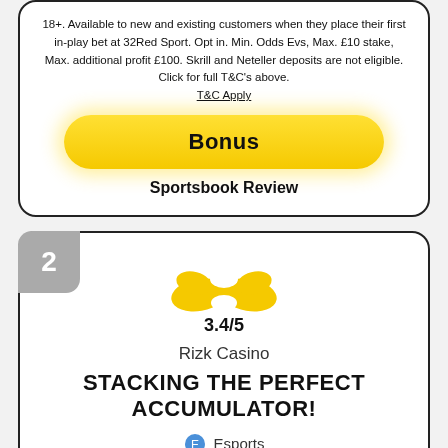18+. Available to new and existing customers when they place their first in-play bet at 32Red Sport. Opt in. Min. Odds Evs, Max. £10 stake, Max. additional profit £100. Skrill and Neteller deposits are not eligible. Click for full T&C's above. T&C Apply
Bonus
Sportsbook Review
2
3.4/5
Rizk Casino
STACKING THE PERFECT ACCUMULATOR!
Esports